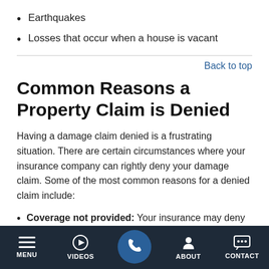Earthquakes
Losses that occur when a house is vacant
Back to top
Common Reasons a Property Claim is Denied
Having a damage claim denied is a frustrating situation. There are certain circumstances where your insurance company can rightly deny your damage claim. Some of the most common reasons for a denied claim include:
Coverage not provided: Your insurance may deny your claim because your policy does not cover the damage
MENU | VIDEOS | (phone) | ABOUT | CONTACT